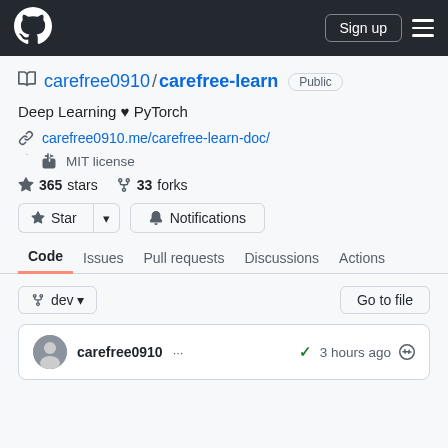GitHub navigation bar with logo, Sign up button, and menu
carefree0910 / carefree-learn  Public
Deep Learning ♥ PyTorch
carefree0910.me/carefree-learn-doc/
MIT license
365 stars   33 forks
Star  Notifications
Code  Issues  Pull requests  Discussions  Actions
dev branch  Go to file
carefree0910 ...  ✓ 3 hours ago